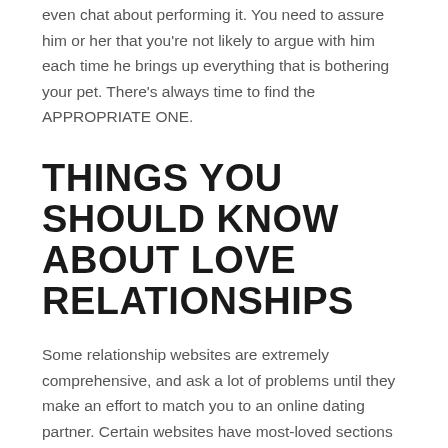even chat about performing it. You need to assure him or her that you're not likely to argue with him each time he brings up everything that is bothering your pet. There's always time to find the APPROPRIATE ONE.
THINGS YOU SHOULD KNOW ABOUT LOVE RELATIONSHIPS
Some relationship websites are extremely comprehensive, and ask a lot of problems until they make an effort to match you to an online dating partner. Certain websites have most-loved sections that allow you to understand what other folks are doing. People today log in to distinctive sites and seek out dating partners.